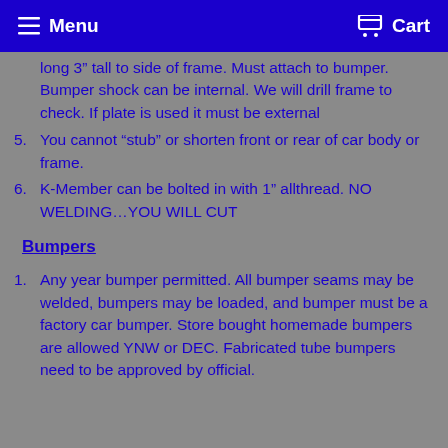Menu   Cart
long 3″ tall to side of frame. Must attach to bumper. Bumper shock can be internal. We will drill frame to check. If plate is used it must be external
5. You cannot “stub” or shorten front or rear of car body or frame.
6. K-Member can be bolted in with 1″ allthread. NO WELDING…YOU WILL CUT
Bumpers
1. Any year bumper permitted. All bumper seams may be welded, bumpers may be loaded, and bumper must be a factory car bumper. Store bought homemade bumpers are allowed YNW or DEC. Fabricated tube bumpers need to be approved by official.